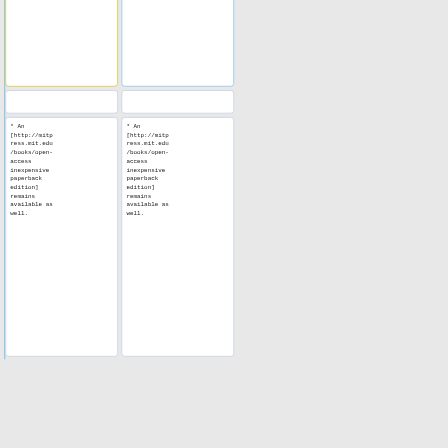nive.org/download/9780262517638OpenAccess/9780262517638OpenAccess_archive.torrent Torrent].
* An [http://mitpress.mit.edu/books/open-access inexpensive paperback edition] remains available as well.
* An [http://mitpress.mit.edu/books/open-access inexpensive paperback edition] remains available as well.